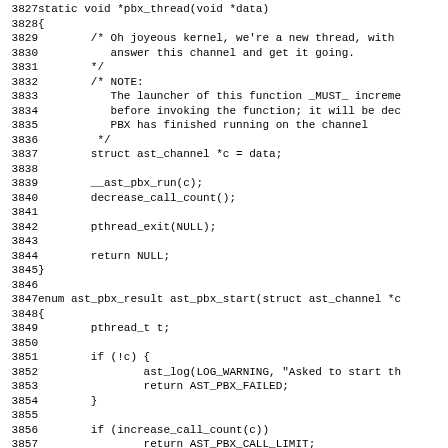[Figure (other): Source code listing in C showing lines 3827-3858 of a PBX thread implementation, including pbx_thread function and ast_pbx_start function definitions]